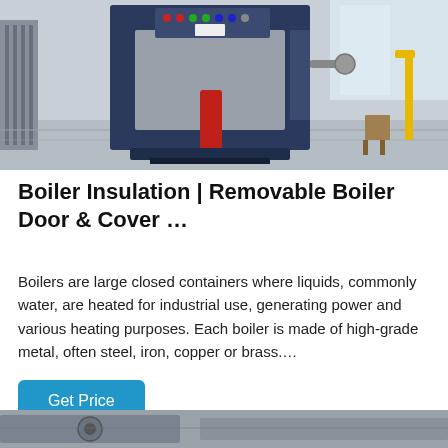[Figure (photo): Industrial boiler machine with blue control panel and red hydraulic arm in a factory setting, steel frames visible in background, yellow safety railing on right]
Boiler Insulation | Removable Boiler Door & Cover …
Boilers are large closed containers where liquids, commonly water, are heated for industrial use, generating power and various heating purposes. Each boiler is made of high-grade metal, often steel, iron, copper or brass.…
Get Price
[Figure (photo): Partial view of another industrial boiler or machinery, cut off at bottom of page]